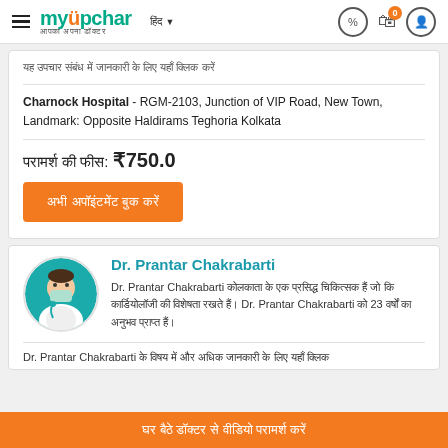myUpchar - आपका अपना डॉक्टर
यह उपचार संबंध में जानकारी के लिए यहाँ क्लिक करें
Charnock Hospital - RGM-2103, Junction of VIP Road, New Town, Landmark: Opposite Haldirams Teghoria Kolkata
परामर्श की फीस: ₹750.0
अभी अपॉइंटमेंट बुक करें
Dr. Prantar Chakrabarti
Dr. Prantar Chakrabarti कोलकाता के एक प्रसिद्ध चिकित्सक हैं जो कि कार्डियोलॉजी की विशेषता रखते हैं। Dr. Prantar Chakrabarti को 23 वर्षों का अनुभव प्राप्त हैं।
Dr. Prantar Chakrabarti के विषय में और अधिक जानकारी के लिए यहाँ क्लिक
घर बैठे डॉक्टर से वीडियो परामर्श करें